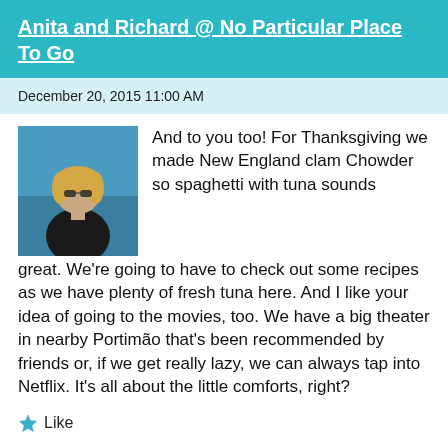Anita and Richard @ No Particular Place To Go
December 20, 2015 11:00 AM
[Figure (photo): Profile photo of a woman with blonde hair wearing sunglasses and a black top, with a blue sea/sky background]
And to you too! For Thanksgiving we made New England clam Chowder so spaghetti with tuna sounds great. We’re going to have to check out some recipes as we have plenty of fresh tuna here. And I like your idea of going to the movies, too. We have a big theater in nearby Portimão that’s been recommended by friends or, if we get really lazy, we can always tap into Netflix. It’s all about the little comforts, right?
Like